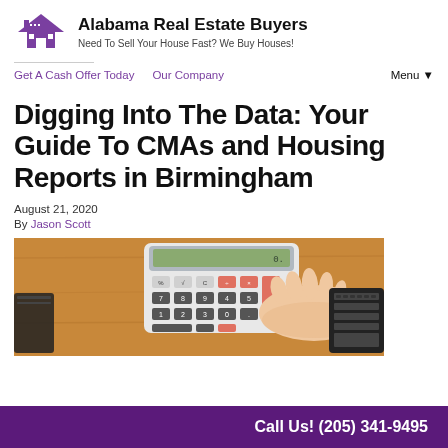Alabama Real Estate Buyers — Need To Sell Your House Fast? We Buy Houses!
Get A Cash Offer Today   Our Company   Menu ▼
Digging Into The Data: Your Guide To CMAs and Housing Reports in Birmingham
August 21, 2020
By Jason Scott
[Figure (photo): A person's hand using a calculator on a wooden desk, with a keyboard visible on the right side.]
Call Us! (205) 341-9495